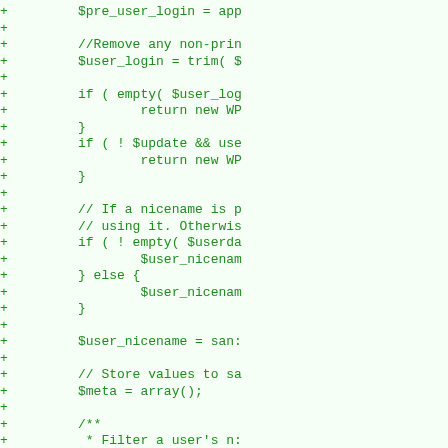[Figure (screenshot): Code diff view showing PHP code with added lines (green '+' markers). Lines show user login processing including pre_user_login assignment, removing non-printable characters, trimming, empty checks, nicename handling, sanitization, and array/docblock for filtering user's data. Green monospace font on light green background.]